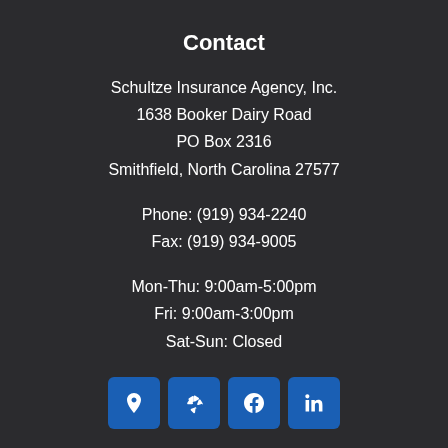Contact
Schultze Insurance Agency, Inc.
1638 Booker Dairy Road
PO Box 2316
Smithfield, North Carolina 27577
Phone: (919) 934-2240
Fax: (919) 934-9005
Mon-Thu: 9:00am-5:00pm
Fri: 9:00am-3:00pm
Sat-Sun: Closed
[Figure (infographic): Four social media icon buttons (Google Maps pin, Yelp, Facebook, LinkedIn) displayed as blue square buttons with white icons]
Insurance